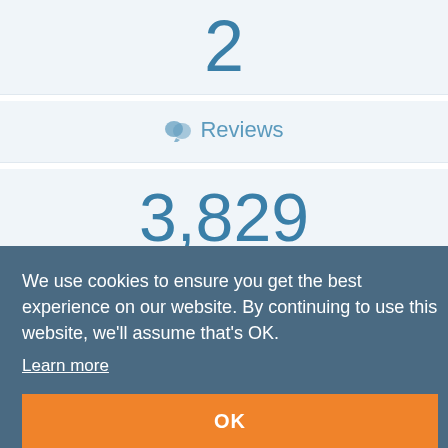2
Reviews
3,829
Followers
N/A
Likes
We use cookies to ensure you get the best experience on our website. By continuing to use this website, we'll assume that's OK.
Learn more
OK